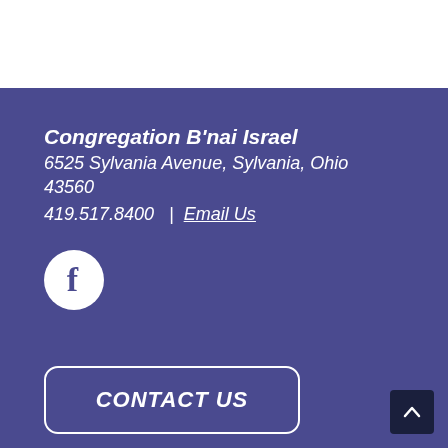Congregation B'nai Israel
6525 Sylvania Avenue, Sylvania, Ohio 43560
419.517.8400 | Email Us
[Figure (logo): Facebook logo icon — white circle with dark purple letter f]
CONTACT US